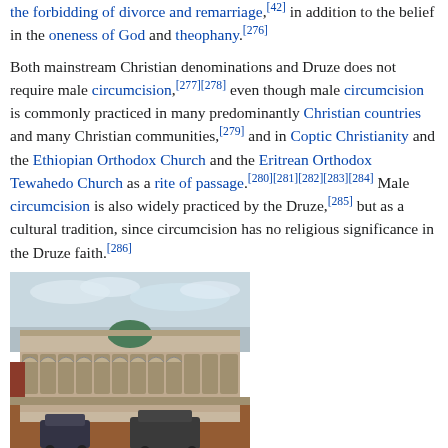the forbidding of divorce and remarriage,[42] in addition to the belief in the oneness of God and theophany.[276]
Both mainstream Christian denominations and Druze does not require male circumcision,[277][278] even though male circumcision is commonly practiced in many predominantly Christian countries and many Christian communities,[279] and in Coptic Christianity and the Ethiopian Orthodox Church and the Eritrean Orthodox Tewahedo Church as a rite of passage.[280][281][282][283][284] Male circumcision is also widely practiced by the Druze,[285] but as a cultural tradition, since circumcision has no religious significance in the Druze faith.[286]
[Figure (photo): Photo of the Druze Maqam Al-Masih (Jesus) in As-Suwayda Governorate. A stone building with arched arcade and a green dome, surrounded by a courtyard, with cars parked in front and a cloudy sky.]
The Druze Maqam Al-Masih (Jesus) in As-Suwayda Governorate: